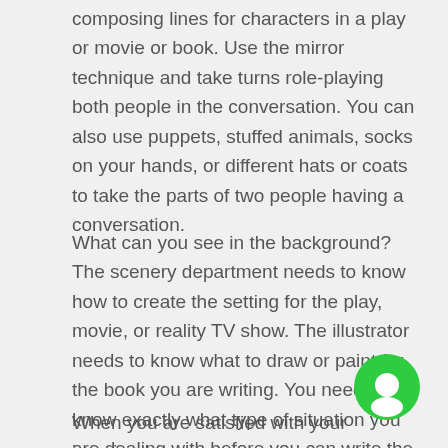composing lines for characters in a play or movie or book. Use the mirror technique and take turns role-playing both people in the conversation. You can also use puppets, stuffed animals, socks on your hands, or different hats or coats to take the parts of two people having a conversation.
What can you see in the background? The scenery department needs to know how to create the setting for the play, movie, or reality TV show. The illustrator needs to know what to draw or paint for the book you are writing. You need to know exactly what type of situation you are dealing with before you can write the dialogue for the characters.
When you are satisfied with your imagined scene,